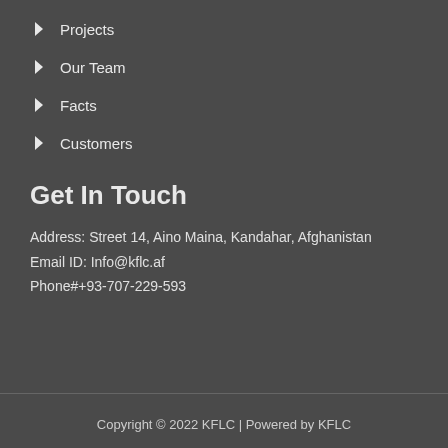> Projects
> Our Team
> Facts
> Customers
Get In Touch
Address:  Street 14, Aino Maina, Kandahar, Afghanistan
Email ID: Info@kflc.af
Phone#+93-707-229-593
Copyright © 2022 KFLC | Powered by KFLC